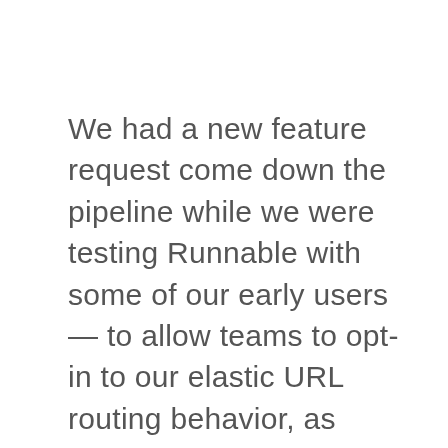We had a new feature request come down the pipeline while we were testing Runnable with some of our early users — to allow teams to opt-in to our elastic URL routing behavior, as opposed to having it enabled by default. (We have a fairly complex URL routing system which would take its own blog post to explain. In short, it handles routing all user traffic to their respective Docker containers.) This system was one of the earlier services written when building out our infrastructure, and has gone through several bug fixes and tuning to get it working just